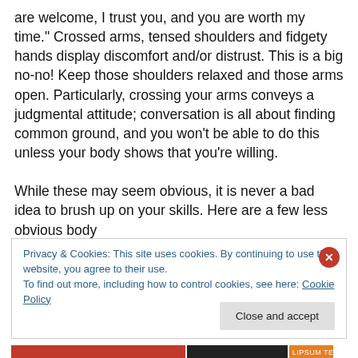are welcome, I trust you, and you are worth my time." Crossed arms, tensed shoulders and fidgety hands display discomfort and/or distrust. This is a big no-no! Keep those shoulders relaxed and those arms open. Particularly, crossing your arms conveys a judgmental attitude; conversation is all about finding common ground, and you won't be able to do this unless your body shows that you're willing.

While these may seem obvious, it is never a bad idea to brush up on your skills. Here are a few less obvious body
Privacy & Cookies: This site uses cookies. By continuing to use this website, you agree to their use.
To find out more, including how to control cookies, see here: Cookie Policy
Close and accept